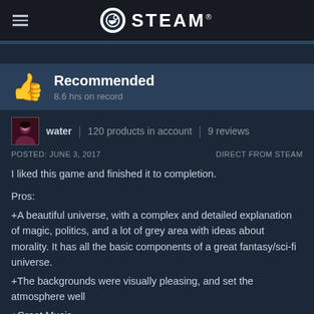STEAM®
Recommended
8.6 hrs on record
water | 120 products in account | 9 reviews
POSTED: JUNE 3, 2017    DIRECT FROM STEAM
I liked this game and finished it to completion.

Pros:
+A beautiful universe, with a complex and detailed explanation of magic, politics, and a lot of grey area with ideas about morality. It has all the basic components of a great fantasy/sci-fi universe.
+The backgrounds were visually pleasing, and set the atmosphere well
+Great Music
+The way it's written makes you care about the characters and